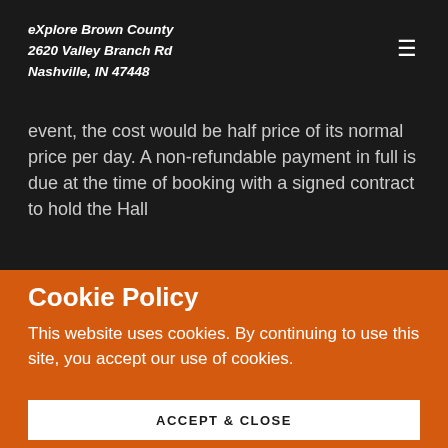eXplore Brown County
2620 Valley Branch Rd
Nashville, IN 47448
event, the cost would be half price of its normal price per day. A non-refundable payment in full is due at the time of booking with a signed contract to hold the Hall
Cookie Policy
This website uses cookies. By continuing to use this site, you accept our use of cookies.
ACCEPT & CLOSE